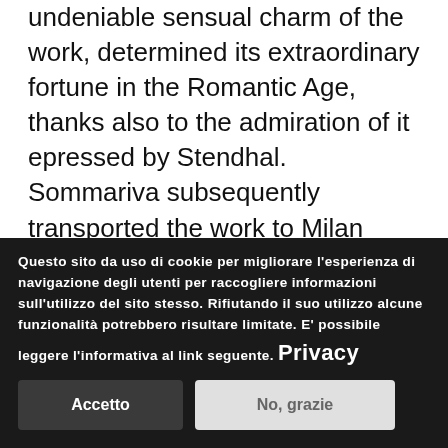undeniable sensual charm of the work, determined its extraordinary fortune in the Romantic Age, thanks also to the admiration of it epressed by Stendhal. Sommariva subsequently transported the work to Milan where it was sold to the Marquis Aguado, in 1839 returning once again in Paris. After the latter's death, it was purchased for 59,000 francs by Raffaele De Ferrari, Duke of Galliera, and placed in his Parisian residence. It then
Questo sito da uso di cookie per migliorare l'esperienza di navigazione degli utenti per raccogliere informazioni sull'utilizzo del sito stesso. Rifiutando il suo utilizzo alcune funzionalità potrebbero risultare limitate. E' possibile leggere l'informativa al link seguente. Privacy